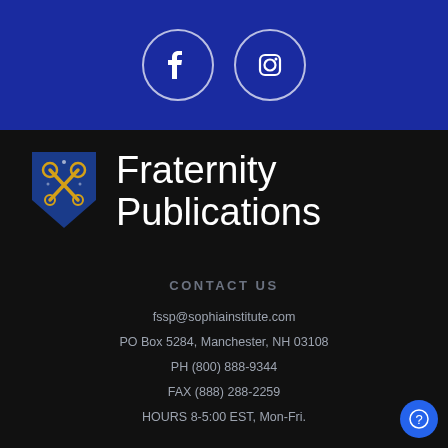[Figure (illustration): Blue bar with Facebook and Instagram social media icons in white circles]
[Figure (logo): Fraternity Publications shield logo with crossed keys on blue background]
Fraternity Publications
CONTACT US
fssp@sophiainstitute.com
PO Box 5284, Manchester, NH 03108
PH (800) 888-9344
FAX (888) 288-2259
HOURS 8-5:00 EST, Mon-Fri.